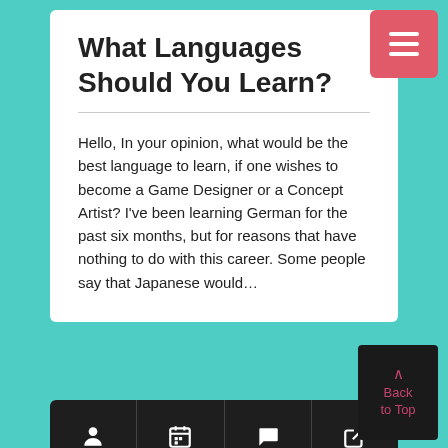What Languages Should You Learn?
Hello, In your opinion, what would be the best language to learn, if one wishes to become a Game Designer or a Concept Artist? I've been learning German for the past six months, but for reasons that have nothing to do with this career. Some people say that Japanese would…
[Figure (other): Icon bar with four icons: person, calendar, speech bubble, external link]
How About Working Remotely As A Game Artists?